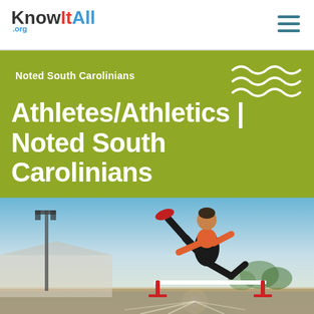KnowItAll.org — navigation header with hamburger menu
Noted South Carolinians
Athletes/Athletics | Noted South Carolinians
[Figure (photo): Female athlete jumping over a hurdle on a track field, backlit by bright sunlight, wearing orange top and dark shorts]